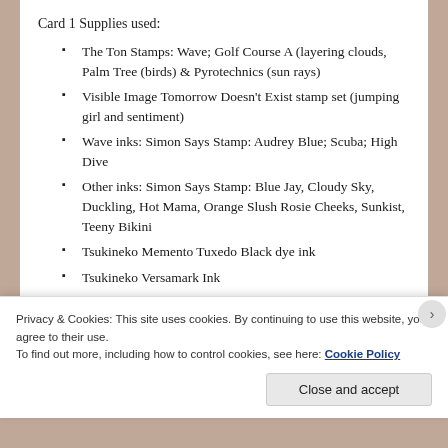Card 1 Supplies used:
The Ton Stamps: Wave; Golf Course A (layering clouds, Palm Tree (birds) & Pyrotechnics (sun rays)
Visible Image Tomorrow Doesn't Exist stamp set (jumping girl and sentiment)
Wave inks: Simon Says Stamp: Audrey Blue; Scuba; High Dive
Other inks: Simon Says Stamp: Blue Jay, Cloudy Sky, Duckling, Hot Mama, Orange Slush Rosie Cheeks, Sunkist, Teeny Bikini
Tsukineko Memento Tuxedo Black dye ink
Tsukineko Versamark Ink
JoAnn Crafts clear embossing powder
Privacy & Cookies: This site uses cookies. By continuing to use this website, you agree to their use. To find out more, including how to control cookies, see here: Cookie Policy
Close and accept